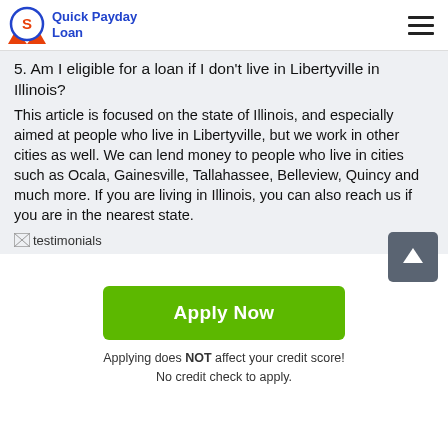Quick Payday Loan
5. Am I eligible for a loan if I don't live in Libertyville in Illinois?
This article is focused on the state of Illinois, and especially aimed at people who live in Libertyville, but we work in other cities as well. We can lend money to people who live in cities such as Ocala, Gainesville, Tallahassee, Belleview, Quincy and much more. If you are living in Illinois, you can also reach us if you are in the nearest state.
[Figure (photo): testimonials image placeholder]
Apply Now
Applying does NOT affect your credit score!
No credit check to apply.